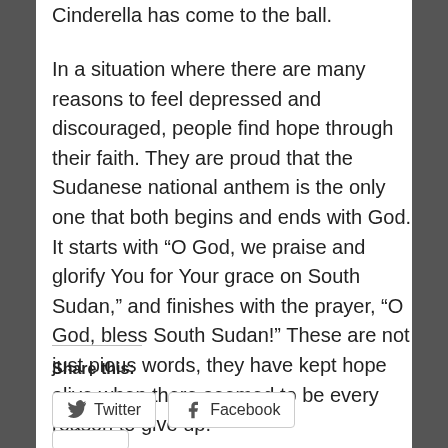Cinderella has come to the ball.
In a situation where there are many reasons to feel depressed and discouraged, people find hope through their faith. They are proud that the Sudanese national anthem is the only one that both begins and ends with God. It starts with “O God, we praise and glorify You for Your grace on South Sudan,” and finishes with the prayer, “O God, bless South Sudan!” These are not just pious words, they have kept hope alive when there seemed to be every reason to give up.
Share this:
Twitter
Facebook